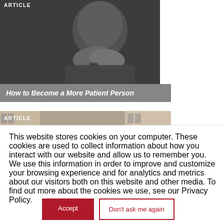[Figure (photo): Black and white photo of a person resting chin on hands, wearing a watch, with 'ARTICLE' label overlay at top]
How to Become a More Patient Person
[Figure (photo): Color photo of people walking along a street with tall buildings, with 'ARTICLE' label overlay at top]
This website stores cookies on your computer. These cookies are used to collect information about how you interact with our website and allow us to remember you. We use this information in order to improve and customize your browsing experience and for analytics and metrics about our visitors both on this website and other media. To find out more about the cookies we use, see our Privacy Policy.
Accept
Don't ask me again